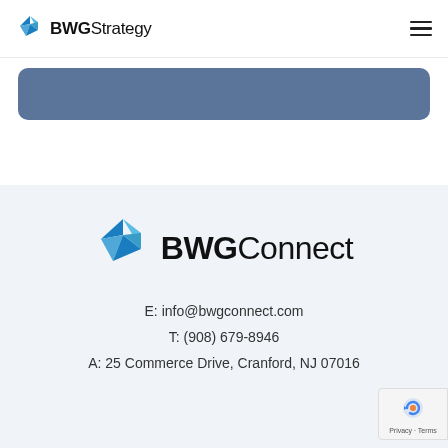[Figure (logo): BWGStrategy logo with blue angular bird icon and bold text 'BWG' followed by regular weight 'Strategy']
[Figure (illustration): Blue-gray rounded rectangle button/banner]
[Figure (logo): BWGConnect logo with blue angular bird icon and bold text 'BWG' followed by regular weight 'Connect']
E: info@bwgconnect.com
T: (908) 679-8946
A: 25 Commerce Drive, Cranford, NJ 07016